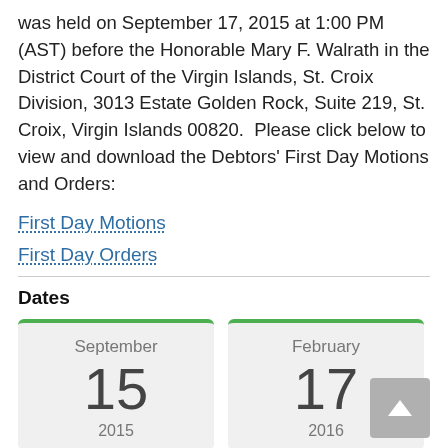was held on September 17, 2015 at 1:00 PM (AST) before the Honorable Mary F. Walrath in the District Court of the Virgin Islands, St. Croix Division, 3013 Estate Golden Rock, Suite 219, St. Croix, Virgin Islands 00820.  Please click below to view and download the Debtors' First Day Motions and Orders:
First Day Motions
First Day Orders
Dates
[Figure (other): Date card showing September 15, 2015]
[Figure (other): Date card showing February 17, 2016]